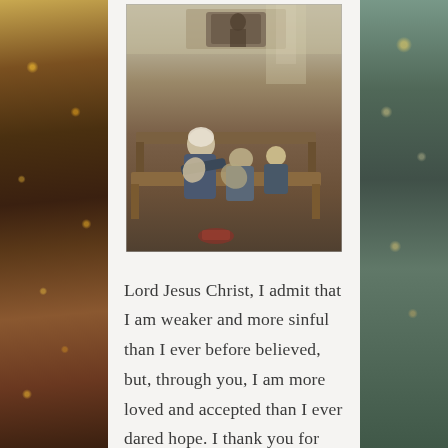[Figure (photo): A classical painting depicting elderly men praying/bowing heads in what appears to be a church or courtroom setting, with wooden pews and benches visible.]
Lord Jesus Christ, I admit that I am weaker and more sinful than I ever before believed, but, through you, I am more loved and accepted than I ever dared hope. I thank you for paying my debt, bearing my punishment and offering forgiveness. I turn from my sins and